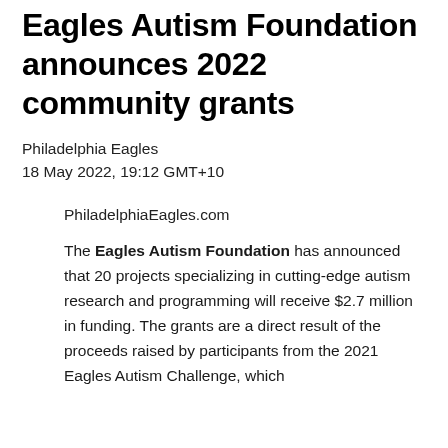Eagles Autism Foundation announces 2022 community grants
Philadelphia Eagles
18 May 2022, 19:12 GMT+10
PhiladelphiaEagles.com
The Eagles Autism Foundation has announced that 20 projects specializing in cutting-edge autism research and programming will receive $2.7 million in funding. The grants are a direct result of the proceeds raised by participants from the 2021 Eagles Autism Challenge, which...